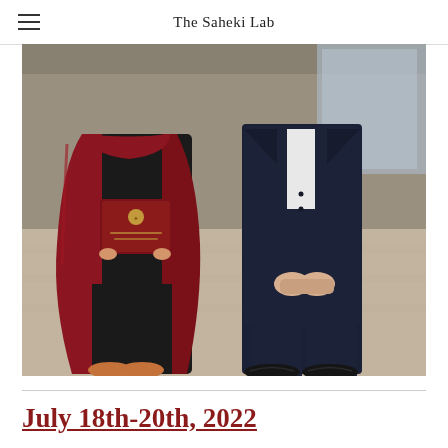The Saheki Lab
[Figure (photo): Two people standing outdoors at a graduation ceremony. The person on the left wears a dark academic gown with a crimson/maroon graduation robe over it and holds a maroon diploma/certificate with a gold crest. The person on the right wears a dark navy suit. Both are standing on a light-colored stone or concrete surface.]
July 18th-20th, 2022